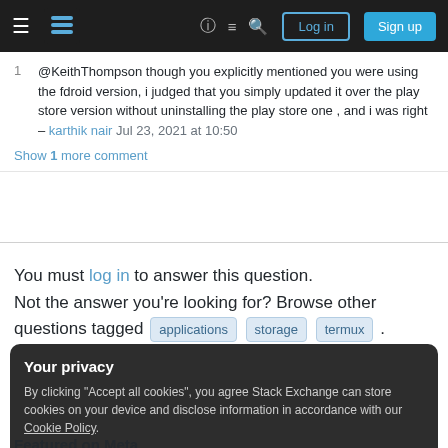Stack Exchange navigation bar with logo, icons, Log in and Sign up buttons
@KeithThompson though you explicitly mentioned you were using the fdroid version, i judged that you simply updated it over the play store version without uninstalling the play store one , and i was right – karthik nair Jul 23, 2021 at 10:50
Show 1 more comment
You must log in to answer this question.
Not the answer you're looking for? Browse other questions tagged applications storage termux .
Your privacy
By clicking "Accept all cookies", you agree Stack Exchange can store cookies on your device and disclose information in accordance with our Cookie Policy.
Accept all cookies
Customize settings
Featured on Meta